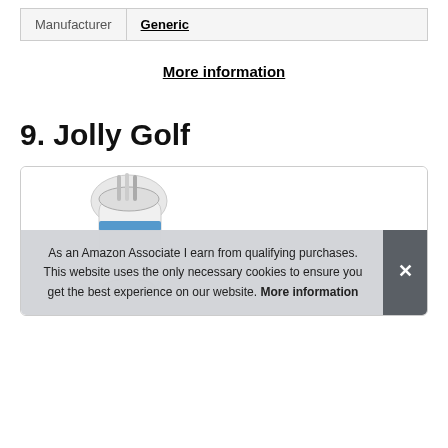| Manufacturer | Generic |
| --- | --- |
| Manufacturer | Generic |
More information
9. Jolly Golf
[Figure (photo): Product image of a golf bag or golf equipment, partially visible inside a card/box with rounded border]
As an Amazon Associate I earn from qualifying purchases. This website uses the only necessary cookies to ensure you get the best experience on our website. More information